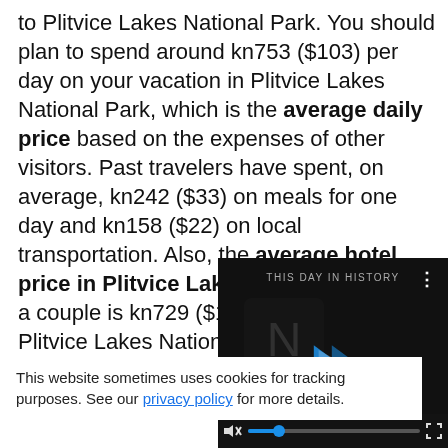to Plitvice Lakes National Park. You should plan to spend around kn753 ($103) per day on your vacation in Plitvice Lakes National Park, which is the average daily price based on the expenses of other visitors. Past travelers have spent, on average, kn242 ($33) on meals for one day and kn158 ($22) on local transportation. Also, the average hotel price in Plitvice Lakes National Park for a couple is kn729 ($100). So, a trip to Plitvice Lakes National Park for two people for one week costs on average kn10,549... average travel pri...
[Figure (other): Video overlay showing 'This Day in History' with play button, progress bar, mute and fullscreen controls on dark background]
This website sometimes uses cookies for tracking purposes. See our privacy policy for more details.